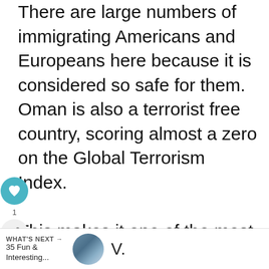There are large numbers of immigrating Americans and Europeans here because it is considered so safe for them. Oman is also a terrorist free country, scoring almost a zero on the Global Terrorism Index.

This makes it one of the most secure countries in the world. However, it's important to remember this is mainly due to the extremely strict justice system in place here under the intense
[Figure (other): Heart/like button icon (teal circle with white heart) and share button icon with count label '1']
WHAT'S NEXT → 35 Fun & Interesting...  V.